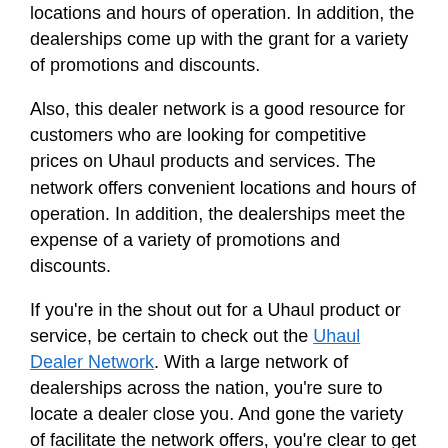locations and hours of operation. In addition, the dealerships come up with the grant for a variety of promotions and discounts.
Also, this dealer network is a good resource for customers who are looking for competitive prices on Uhaul products and services. The network offers convenient locations and hours of operation. In addition, the dealerships meet the expense of a variety of promotions and discounts.
If you're in the shout out for a Uhaul product or service, be certain to check out the Uhaul Dealer Network. With a large network of dealerships across the nation, you're sure to locate a dealer close you. And gone the variety of facilitate the network offers, you're clear to get the best doable price upon your Uhaul purchase.